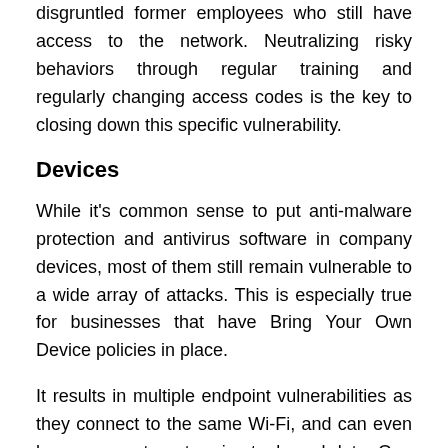disgruntled former employees who still have access to the network. Neutralizing risky behaviors through regular training and regularly changing access codes is the key to closing down this specific vulnerability.
Devices
While it's common sense to put anti-malware protection and antivirus software in company devices, most of them still remain vulnerable to a wide array of attacks. This is especially true for businesses that have Bring Your Own Device policies in place.
It results in multiple endpoint vulnerabilities as they connect to the same Wi-Fi, and can even have access to enterprise tools and data. One way to mitigate this is by deploying endpoint security software and enforcing